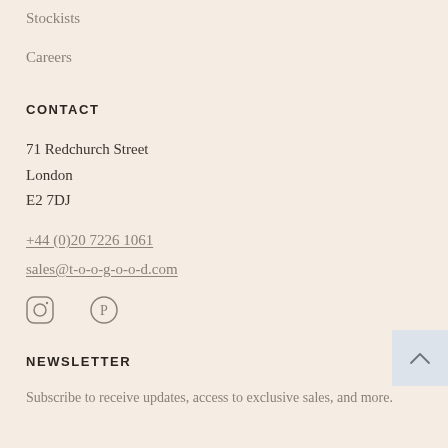Stockists
Careers
CONTACT
71 Redchurch Street
London
E2 7DJ
+44 (0)20 7226 1061
sales@t-o-o-g-o-o-d.com
[Figure (other): Instagram and Pinterest social media icons]
NEWSLETTER
Subscribe to receive updates, access to exclusive sales, and more.